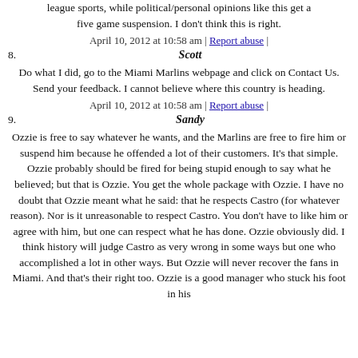league sports, while political/personal opinions like this get a five game suspension. I don't think this is right.
April 10, 2012 at 10:58 am | Report abuse |
8. Scott
Do what I did, go to the Miami Marlins webpage and click on Contact Us. Send your feedback. I cannot believe where this country is heading.
April 10, 2012 at 10:58 am | Report abuse |
9. Sandy
Ozzie is free to say whatever he wants, and the Marlins are free to fire him or suspend him because he offended a lot of their customers. It's that simple. Ozzie probably should be fired for being stupid enough to say what he believed; but that is Ozzie. You get the whole package with Ozzie. I have no doubt that Ozzie meant what he said: that he respects Castro (for whatever reason). Nor is it unreasonable to respect Castro. You don't have to like him or agree with him, but one can respect what he has done. Ozzie obviously did. I think history will judge Castro as very wrong in some ways but one who accomplished a lot in other ways. But Ozzie will never recover the fans in Miami. And that's their right too. Ozzie is a good manager who stuck his foot in his